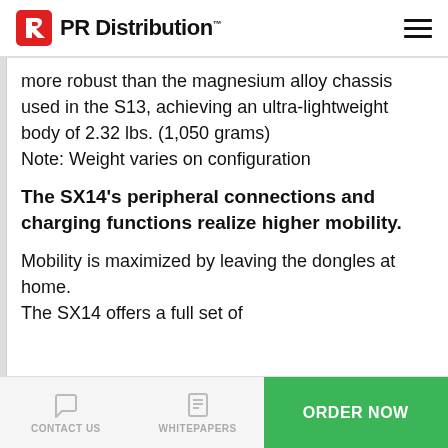PR Distribution™
more robust than the magnesium alloy chassis used in the S13, achieving an ultra-lightweight body of 2.32 lbs. (1,050 grams)
Note: Weight varies on configuration
The SX14's peripheral connections and charging functions realize higher mobility.
Mobility is maximized by leaving the dongles at home.
The SX14 offers a full set of
CONTACT US   WHITEPAPERS   ORDER NOW